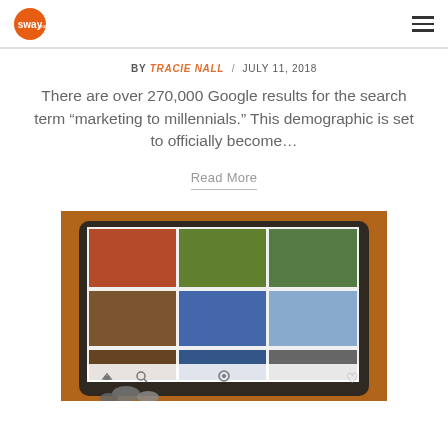Sway Group logo and navigation menu
BY TRACIE NALL / JULY 11, 2018
There are over 270,000 Google results for the search term “marketing to millennials.” This demographic is set to officially become…
Read More
[Figure (photo): Close-up photograph of a tablet displaying an Instagram-like photo grid, with pebbles in the foreground and an orange background visible at top.]